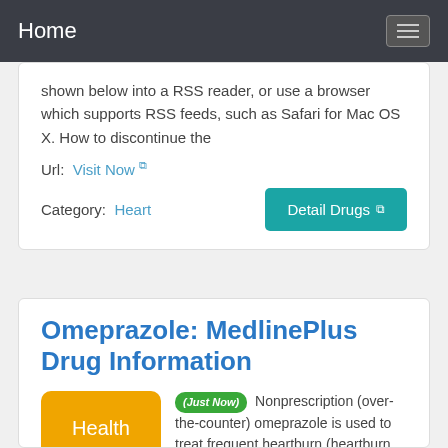Home
shown below into a RSS reader, or use a browser which supports RSS feeds, such as Safari for Mac OS X. How to discontinue the
Url: Visit Now
Category: Heart
Omeprazole: MedlinePlus Drug Information
(Just Now) Nonprescription (over-the-counter) omeprazole is used to treat frequent heartburn (heartburn that